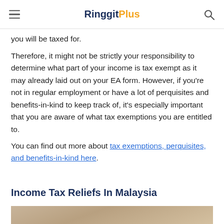RinggitPlus
you will be taxed for.
Therefore, it might not be strictly your responsibility to determine what part of your income is tax exempt as it may already laid out on your EA form. However, if you're not in regular employment or have a lot of perquisites and benefits-in-kind to keep track of, it's especially important that you are aware of what tax exemptions you are entitled to.
You can find out more about tax exemptions, perquisites, and benefits-in-kind here.
Income Tax Reliefs In Malaysia
[Figure (photo): Photograph partially visible at bottom of page, appears to show a person's hands]